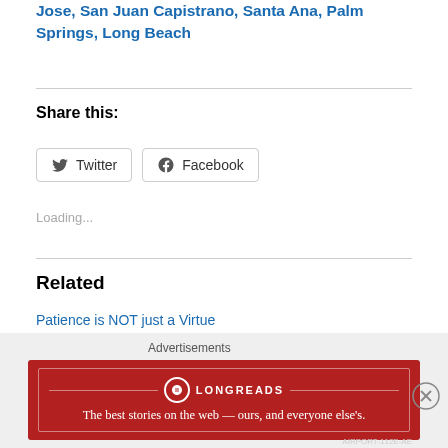Jose, San Juan Capistrano, Santa Ana, Palm Springs, Long Beach
Share this:
Twitter  Facebook
Loading...
Related
Patience is NOT just a Virtue
June 17, 2012
In "Faith"
[Figure (infographic): Longreads advertisement banner: red background with Longreads logo and tagline 'The best stories on the web — ours, and everyone else's.']